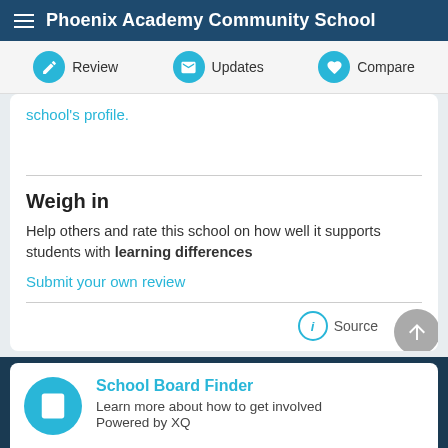Phoenix Academy Community School
Review   Updates   Compare
school's profile.
Weigh in
Help others and rate this school on how well it supports students with learning differences
Submit your own review
Source
School Board Finder
Learn more about how to get involved
Powered by XQ
Homes Nearby